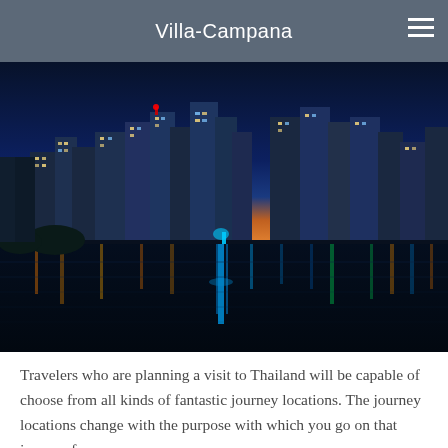Villa-Campana
[Figure (photo): City skyline at night reflected in water, with illuminated skyscrapers and colorful lights]
Travelers who are planning a visit to Thailand will be capable of choose from all kinds of fantastic journey locations. The journey locations change with the purpose with which you go on that journey for.